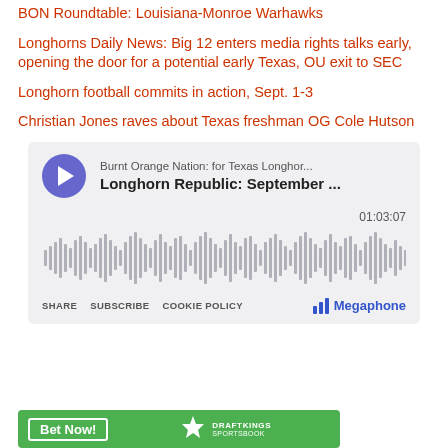BON Roundtable: Louisiana-Monroe Warhawks
Longhorns Daily News: Big 12 enters media rights talks early, opening the door for a potential early Texas, OU exit to SEC
Longhorn football commits in action, Sept. 1-3
Christian Jones raves about Texas freshman OG Cole Hutson
[Figure (screenshot): Megaphone podcast player widget showing 'Longhorn Republic: September ...' episode from 'Burnt Orange Nation: for Texas Longhor...' with waveform, duration 01:03:07, and SHARE SUBSCRIBE COOKIE POLICY links]
[Figure (screenshot): DraftKings advertisement banner with 'Bet Now!' button and DraftKings logo on green background]